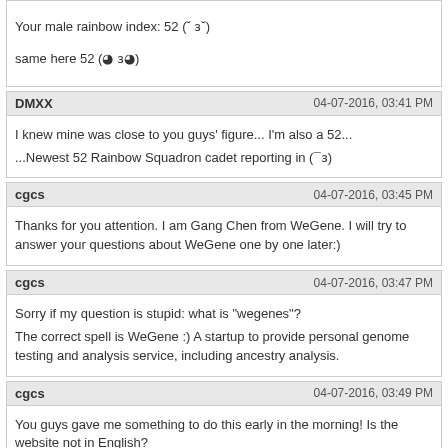Your male rainbow index: 52 (emoticon)
same here 52 (emoticon)
DMXX  04-07-2016, 03:41 PM
I knew mine was close to you guys' figure... I'm also a 52...
...Newest 52 Rainbow Squadron cadet reporting in (emoticon)
cgcs  04-07-2016, 03:45 PM
Thanks for you attention. I am Gang Chen from WeGene. I will try to answer your questions about WeGene one by one later:)
cgcs  04-07-2016, 03:47 PM
Sorry if my question is stupid: what is "wegenes"?
The correct spell is WeGene :) A startup to provide personal genome testing and analysis service, including ancestry analysis.
cgcs  04-07-2016, 03:49 PM
You guys gave me something to do this early in the morning! Is the website not in English?
Edit: Quick googling turned up this.
https://i.gyazo.com/2bb8c934eb8738d14d2e7c759ceb56b0.png
As I mentioned in the message, we planed to develop a English version. I think we have to increase the priority of the English site:)